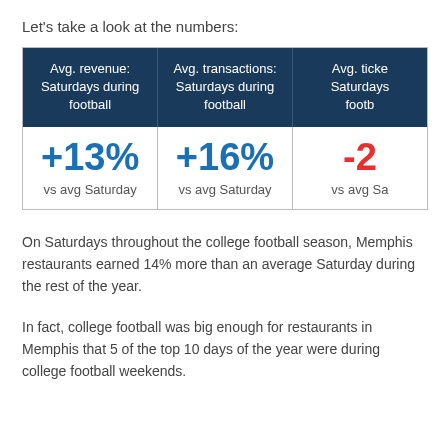Let's take a look at the numbers:
| Avg. revenue: Saturdays during football | Avg. transactions: Saturdays during football | Avg. ticket: Saturdays during football |
| --- | --- | --- |
| +13%
vs avg Saturday | +16%
vs avg Saturday | -2%
vs avg Saturday |
On Saturdays throughout the college football season, Memphis restaurants earned 14% more than an average Saturday during the rest of the year.
In fact, college football was big enough for restaurants in Memphis that 5 of the top 10 days of the year were during college football weekends.